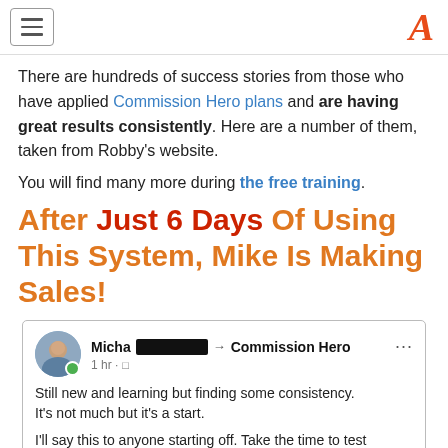Navigation header with hamburger menu and logo
There are hundreds of success stories from those who have applied Commission Hero plans and are having great results consistently. Here are a number of them, taken from Robby's website.
You will find many more during the free training.
After Just 6 Days Of Using This System, Mike Is Making Sales!
[Figure (screenshot): Facebook post screenshot: Michael (last name redacted) posted in Commission Hero group. Post text: 'Still new and learning but finding some consistency. It's not much but it's a start. I'll say this to anyone starting off. Take the time to test']